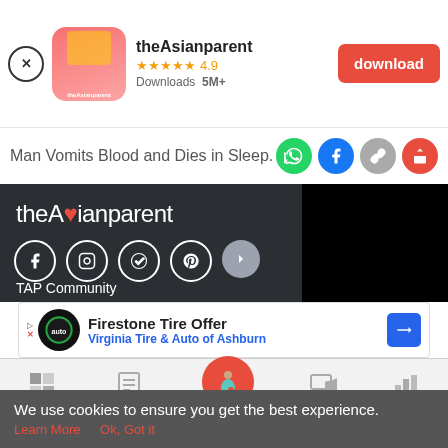[Figure (screenshot): App download banner for theAsianparent app showing app icon, rating 4.9 stars, Downloads 5M+, and a red download button]
Man Vomits Blood and Dies in Sleep.
[Figure (screenshot): Dark themed website section showing theAsianparent logo, social media icons (Facebook, Instagram, Pinterest), an arrow button, TAP Community text, and a black video area]
[Figure (advertisement): Firestone Tire Offer ad - Virginia Tire & Auto of Ashburn with blue arrow icon]
[Figure (screenshot): Bottom navigation bar with Tools, Articles, center pregnancy icon, Feed, and Poll]
We use cookies to ensure you get the best experience.
Learn More   Ok, Got it